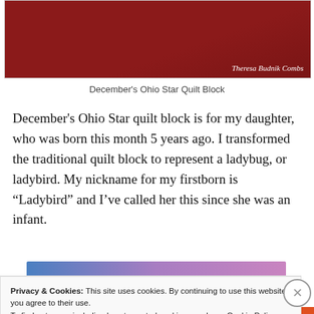[Figure (photo): Partial photo of a red and black Ohio Star quilt block with credit text 'Theresa Budnik Combs' in white italic in the lower right corner.]
December's Ohio Star Quilt Block
December's Ohio Star quilt block is for my daughter, who was born this month 5 years ago. I transformed the traditional quilt block to represent a ladybug, or ladybird. My nickname for my firstborn is “Ladybird” and I’ve called her this since she was an infant.
Privacy & Cookies: This site uses cookies. By continuing to use this website, you agree to their use.
To find out more, including how to control cookies, see here: Cookie Policy